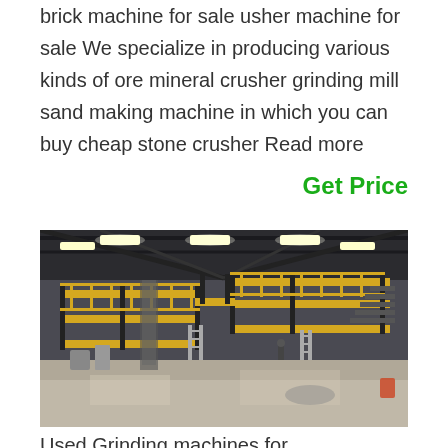brick machine for sale usher machine for sale We specialize in producing various kinds of ore mineral crusher grinding mill sand making machine in which you can buy cheap stone crusher Read more
Get Price
[Figure (photo): Interior of a large industrial warehouse or factory with multi-level yellow railed steel platforms/mezzanines, overhead lighting, and heavy machinery. The structure features black steel beams and yellow safety railings across multiple levels.]
Used Grinding machines for